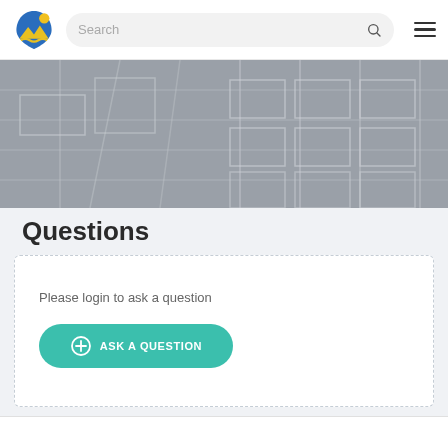Navigation bar with logo, search bar, and hamburger menu
[Figure (photo): Gray architectural hero image showing building facade with glass panels]
Questions
Please login to ask a question
ASK A QUESTION